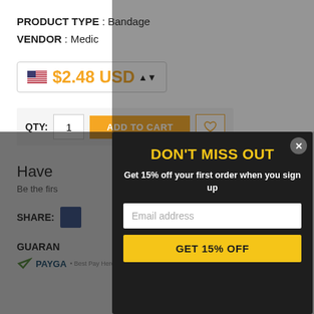PRODUCT TYPE : Bandage
VENDOR : Medic
$2.48 USD
QTY: 1 ADD TO CART
Have
Be the firs
SHARE:
GUARAN
PAYGA
DON'T MISS OUT
Get 15% off your first order when you sign up
Email address
GET 15% OFF